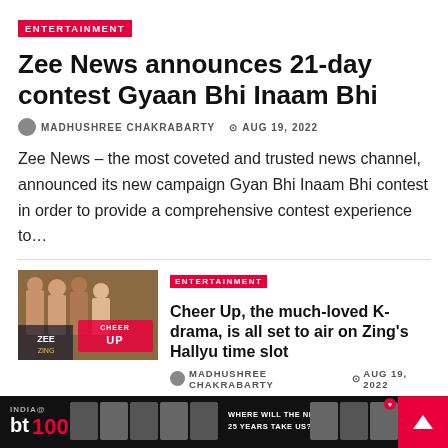ENTERTAINMENT
Zee News announces 21-day contest Gyaan Bhi Inaam Bhi
MADHUSHREE CHAKRABARTY  AUG 19, 2022
Zee News – the most coveted and trusted news channel, announced its new campaign Gyan Bhi Inaam Bhi contest in order to provide a comprehensive contest experience to…
[Figure (photo): Thumbnail image for Cheer Up K-drama article, showing cast members]
ENTERTAINMENT
Cheer Up, the much-loved K-drama, is all set to air on Zing's Hallyu time slot
MADHUSHREE CHAKRABARTY  AUG 19, 2022
[Figure (logo): Carnival Cinemas logo on grey background]
ENTERTAINMENT
Carnival Cinemas Solemnizes 10 years of Movie Magic
[Figure (photo): BT India@100 advertisement banner at bottom of page]